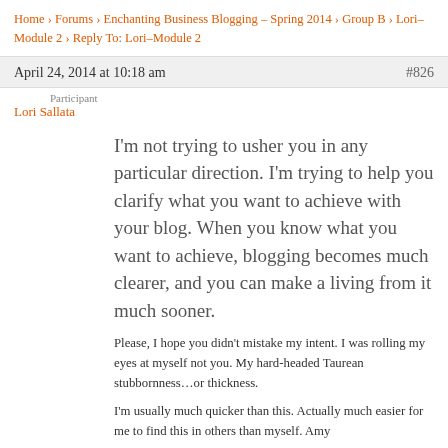Home › Forums › Enchanting Business Blogging – Spring 2014 › Group B › Lori–Module 2 › Reply To: Lori–Module 2
April 24, 2014 at 10:18 am  #826
Participant
Lori Sallata
I'm not trying to usher you in any particular direction. I'm trying to help you clarify what you want to achieve with your blog. When you know what you want to achieve, blogging becomes much clearer, and you can make a living from it much sooner.
Please, I hope you didn't mistake my intent. I was rolling my eyes at myself not you. My hard-headed Taurean stubbornness…or thickness.
I'm usually much quicker than this. Actually much easier for me to find this in others than myself. Amy